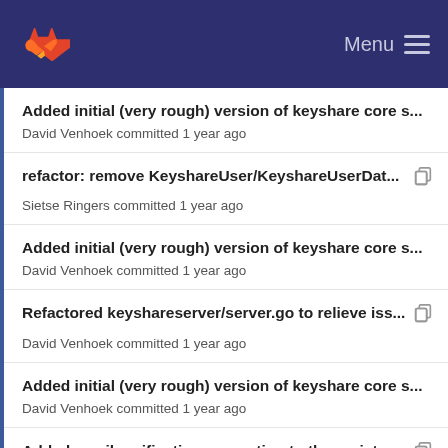GitLab — Menu
Added initial (very rough) version of keyshare core s...
David Venhoek committed 1 year ago
refactor: remove KeyshareUser/KeyshareUserDat...
Sietse Ringers committed 1 year ago
Added initial (very rough) version of keyshare core s...
David Venhoek committed 1 year ago
Refactored keyshareserver/server.go to relieve iss...
David Venhoek committed 1 year ago
Added initial (very rough) version of keyshare core s...
David Venhoek committed 1 year ago
Added email verification generation to the registra...
David Venhoek committed 1 year ago
Made check whether user registered with email m...
David Venhoek committed 1 year ago